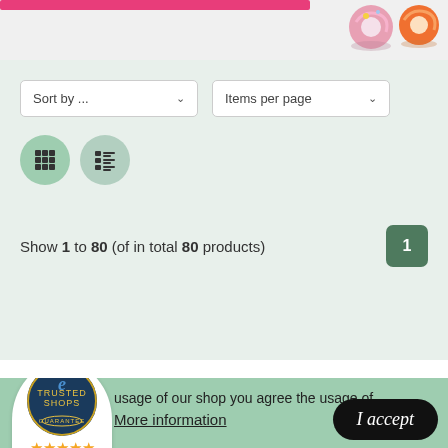[Figure (screenshot): Top banner with pink progress bar and colorful donut/pastry images in top right]
Sort by ...
Items per page
[Figure (infographic): Grid view icon button (circle with 9 dots)]
[Figure (infographic): List view icon button (circle with lines)]
Show 1 to 80 (of in total 80 products)
1
[Figure (logo): Trusted Shops e-guarantee badge with dark blue circle, gold stars, rating 4,98]
usage of our shop you agree the usage of
More information
I accept